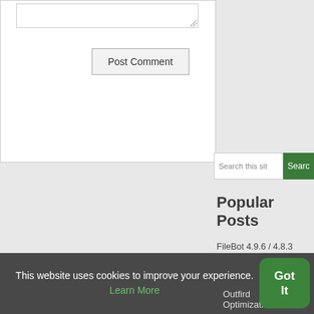[Figure (screenshot): Textarea input box for comment (partial view, top portion cut off)]
Post Comment
Search this site
Popular Posts
FileBot 4.9.6 / 4.8.3 Crack With Activator Latest 2022
Outfird Optimization Pro
This website uses cookies to improve your experience. Learn More
Got It